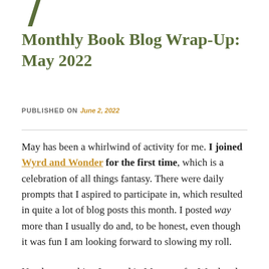[Figure (illustration): Partial view of a stylized leaf or slash logo mark in olive/dark green at top left]
Monthly Book Blog Wrap-Up: May 2022
PUBLISHED ON June 2, 2022
May has been a whirlwind of activity for me. I joined Wyrd and Wonder for the first time, which is a celebration of all things fantasy. There were daily prompts that I aspired to participate in, which resulted in quite a lot of blog posts this month. I posted way more than I usually do and, to be honest, even though it was fun I am looking forward to slowing my roll.
Nearly everything I posted in May was for Wyrd and